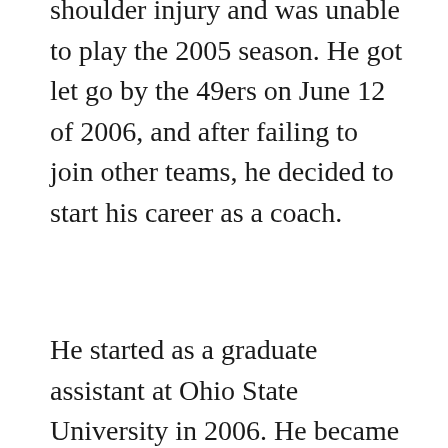shoulder injury and was unable to play the 2005 season. He got let go by the 49ers on June 12 of 2006, and after failing to join other teams, he decided to start his career as a coach.
He started as a graduate assistant at Ohio State University in 2006. He became one of the coaches of Northern Illinois in 2007 after Joe Novak hired